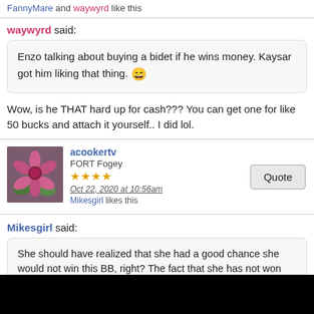FannyMare and waywyrd like this
waywyrd said:
Enzo talking about buying a bidet if he wins money. Kaysar got him liking that thing. 😄
Wow, is he THAT hard up for cash??? You can get one for like 50 bucks and attach it yourself.. I did lol.
acookertv
FORT Fogey
★★★★
Oct 22, 2020 at 10:56am
Mikesgirl likes this
Mikesgirl said:
She should have realized that she had a good chance she would not win this BB, right? The fact that she has not won many comps, and Cody/Nicole have, should have been a clue. Also, that she has been nominated for eviction several times, reduced her odds of a win.
I think Christmas convinced herself she's great in comps and that it would